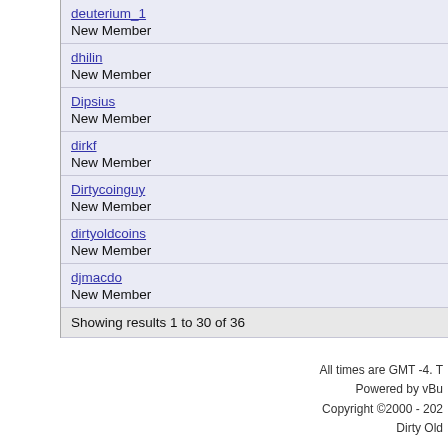deuterium_1
New Member
dhilin
New Member
Dipsius
New Member
dirkf
New Member
Dirtycoinguy
New Member
dirtyoldcoins
New Member
djmacdo
New Member
Showing results 1 to 30 of 36
All times are GMT -4. T
Powered by vBu
Copyright ©2000 - 202
Dirty Old